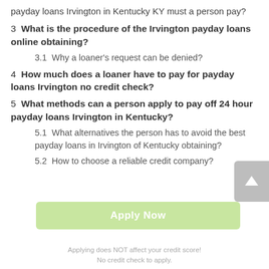payday loans Irvington in Kentucky KY must a person pay?
3  What is the procedure of the Irvington payday loans online obtaining?
3.1  Why a loaner's request can be denied?
4  How much does a loaner have to pay for payday loans Irvington no credit check?
5  What methods can a person apply to pay off 24 hour payday loans Irvington in Kentucky?
5.1  What alternatives the person has to avoid the best payday loans in Irvington of Kentucky obtaining?
5.2  How to choose a reliable credit company?
Apply Now
Applying does NOT affect your credit score!
No credit check to apply.